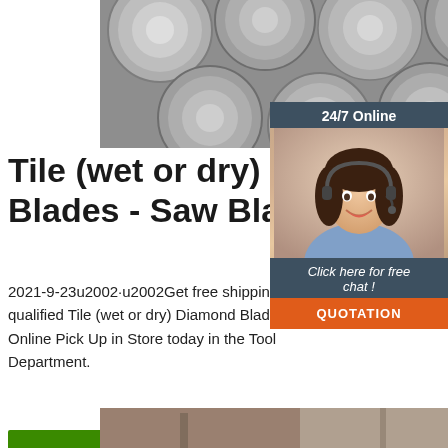[Figure (photo): Stack of metallic steel round rods/bars viewed from the end, showing circular cross-sections in grey tones]
[Figure (photo): 24/7 Online customer service widget with a smiling female agent wearing a headset, dark teal background, with 'Click here for free chat!' text and orange QUOTATION button]
Tile (wet or dry) - Diamond Blades - Saw Blades -
2021-9-23u2002·u2002Get free shipping on qualified Tile (wet or dry) Diamond Blades - Online Pick Up in Store today in the Tool Department.
[Figure (other): Get Price green button]
[Figure (logo): TOP logo with orange dotted triangle above the word TOP in orange]
[Figure (photo): Bottom partial photo strip showing industrial/construction scene]